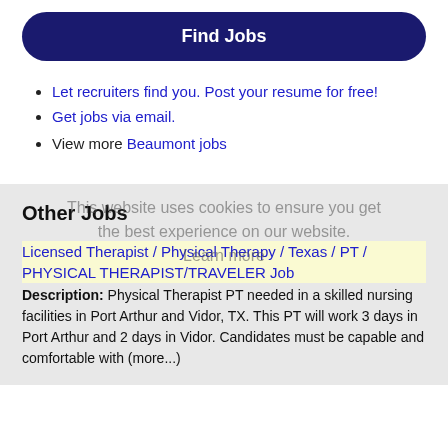Find Jobs
Let recruiters find you. Post your resume for free!
Get jobs via email.
View more Beaumont jobs
Other Jobs
This website uses cookies to ensure you get the best experience on our website. Learn more
Licensed Therapist / Physical Therapy / Texas / PT / PHYSICAL THERAPIST/TRAVELER Job
Description: Physical Therapist PT needed in a skilled nursing facilities in Port Arthur and Vidor, TX. This PT will work 3 days in Port Arthur and 2 days in Vidor. Candidates must be capable and comfortable with (more...)